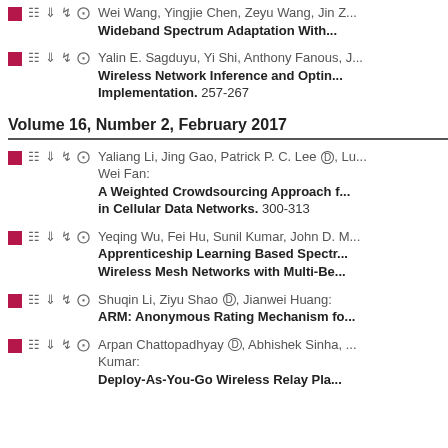Wei Wang, Yingjie Chen, Zeyu Wang, Jin Z... Wideband Spectrum Adaptation With...
Yalin E. Sagduyu, Yi Shi, Anthony Fanous, J... Wireless Network Inference and Optin... Implementation. 257-267
Volume 16, Number 2, February 2017
Yaliang Li, Jing Gao, Patrick P. C. Lee, Lu... Wei Fan: A Weighted Crowdsourcing Approach f... in Cellular Data Networks. 300-313
Yeqing Wu, Fei Hu, Sunil Kumar, John D. M... Apprenticeship Learning Based Spectr... Wireless Mesh Networks with Multi-Be...
Shuqin Li, Ziyu Shao, Jianwei Huang: ARM: Anonymous Rating Mechanism fo...
Arpan Chattopadhyay, Abhishek Sinha, ... Kumar: Deploy-As-You-Go Wireless Relay Pla...